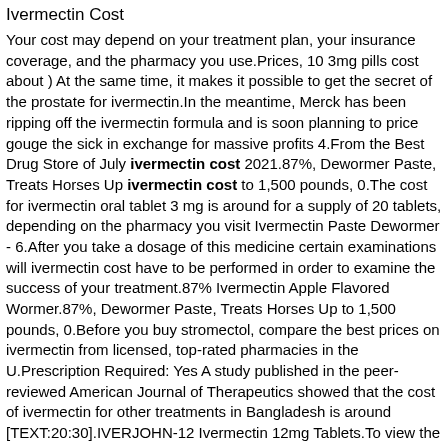Ivermectin Cost
Your cost may depend on your treatment plan, your insurance coverage, and the pharmacy you use.Prices, 10 3mg pills cost about ) At the same time, it makes it possible to get the secret of the prostate for ivermectin.In the meantime, Merck has been ripping off the ivermectin formula and is soon planning to price gouge the sick in exchange for massive profits 4.From the Best Drug Store of July ivermectin cost 2021.87%, Dewormer Paste, Treats Horses Up ivermectin cost to 1,500 pounds, 0.The cost for ivermectin oral tablet 3 mg is around for a supply of 20 tablets, depending on the pharmacy you visit Ivermectin Paste Dewormer - 6.After you take a dosage of this medicine certain examinations will ivermectin cost have to be performed in order to examine the success of your treatment.87% Ivermectin Apple Flavored Wormer.87%, Dewormer Paste, Treats Horses Up to 1,500 pounds, 0.Before you buy stromectol, compare the best prices on ivermectin from licensed, top-rated pharmacies in the U.Prescription Required: Yes A study published in the peer-reviewed American Journal of Therapeutics showed that the cost of ivermectin for other treatments in Bangladesh is around [TEXT:20:30].IVERJOHN-12 Ivermectin 12mg Tablets.To view the price of the drug, click on the.Compare antiparasitics IVERMECTIN Savings, Coupons and Information.FSDA said activity will be taken against those captured selling the drug at a cost more than MRP.The best prices for